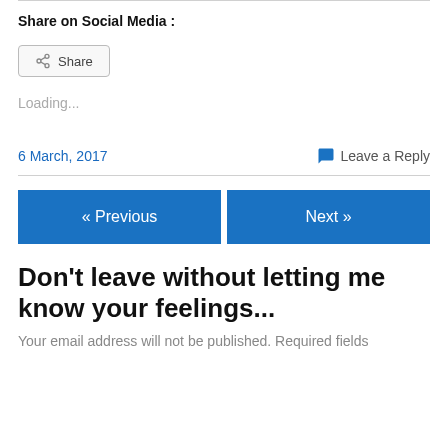Share on Social Media :
[Figure (other): Share button with share icon]
Loading...
6 March, 2017
Leave a Reply
« Previous
Next »
Don't leave without letting me know your feelings...
Your email address will not be published. Required fields